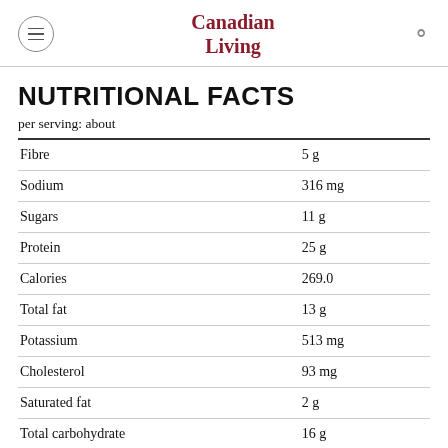Canadian Living
NUTRITIONAL FACTS
per serving: about
| Nutrient | Amount |
| --- | --- |
| Fibre | 5 g |
| Sodium | 316 mg |
| Sugars | 11 g |
| Protein | 25 g |
| Calories | 269.0 |
| Total fat | 13 g |
| Potassium | 513 mg |
| Cholesterol | 93 mg |
| Saturated fat | 2 g |
| Total carbohydrate | 16 g |